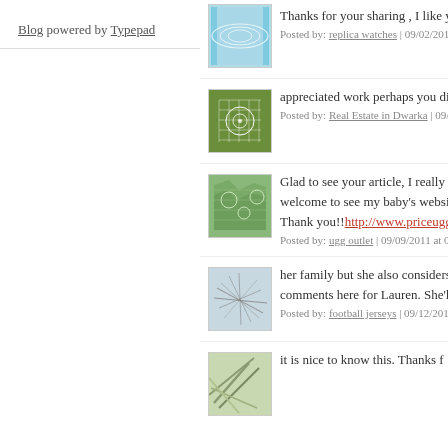Blog powered by Typepad
Thanks for your sharing , I like y
Posted by: replica watches | 09/02/2011
appreciated work perhaps you di
Posted by: Real Estate in Dwarka | 09/0
Glad to see your article, I really l welcome to see my baby's websit Thank you!!http://www.priceugg
Posted by: ugg outlet | 09/09/2011 at 00
her family but she also considers comments here for Lauren. She'l
Posted by: football jerseys | 09/12/2011
it is nice to know this. Thanks f